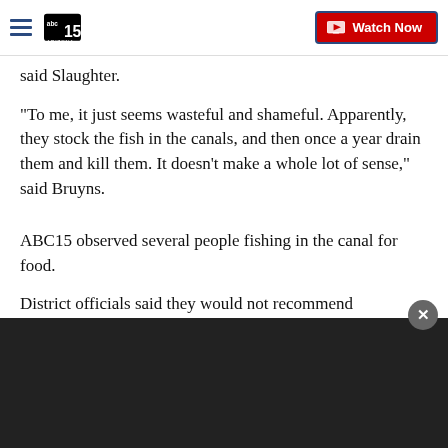ABC15 Arizona – Watch Now
said Slaughter.
"To me, it just seems wasteful and shameful. Apparently, they stock the fish in the canals, and then once a year drain them and kill them. It doesn't make a whole lot of sense," said Bruyns.
ABC15 observed several people fishing in the canal for food.
District officials said they would not recommend